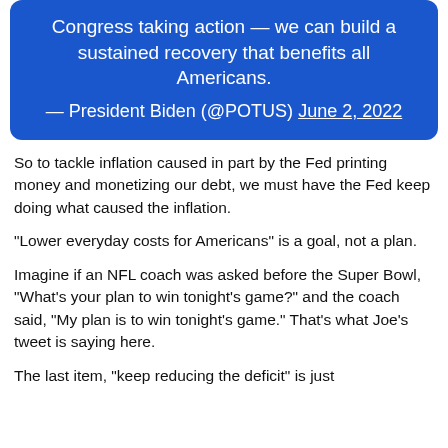Congress taking action — we can build a sustained recovery that benefits all Americans.
— President Biden (@POTUS) June 2, 2022
So to tackle inflation caused in part by the Fed printing money and monetizing our debt, we must have the Fed keep doing what caused the inflation.
“Lower everyday costs for Americans” is a goal, not a plan.
Imagine if an NFL coach was asked before the Super Bowl, “What’s your plan to win tonight’s game?” and the coach said, “My plan is to win tonight’s game.” That’s what Joe’s tweet is saying here.
The last item, “keep reducing the deficit” is just